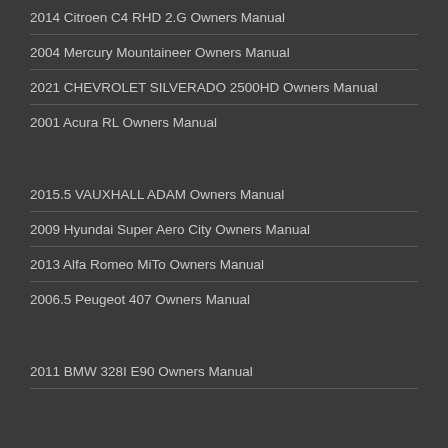2014 Citroen C4 RHD 2.G Owners Manual
2004 Mercury Mountaineer Owners Manual
2021 CHEVROLET SILVERADO 2500HD Owners Manual
2001 Acura RL Owners Manual
2015.5 VAUXHALL ADAM Owners Manual
2009 Hyundai Super Aero City Owners Manual
2013 Alfa Romeo MiTo Owners Manual
2006.5 Peugeot 407 Owners Manual
2011 BMW 328I E90 Owners Manual